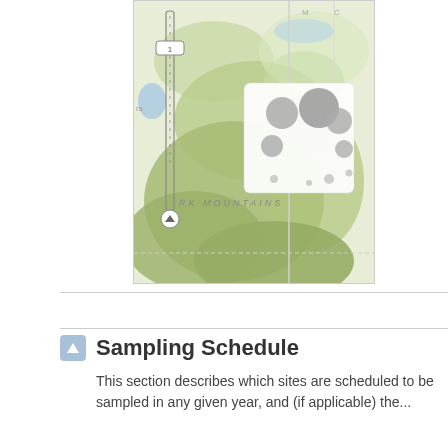[Figure (map): Topographic map showing mountainous terrain labeled 'RK MOUNTAINS', with a zoom slider control on the left side, a cluster overlay showing grouped location markers (dots of varying sizes), a vertical boundary line, and terrain in green/olive tones.]
Sampling Schedule
This section describes which sites are scheduled to be sampled in any given year, and (if applicable) the...